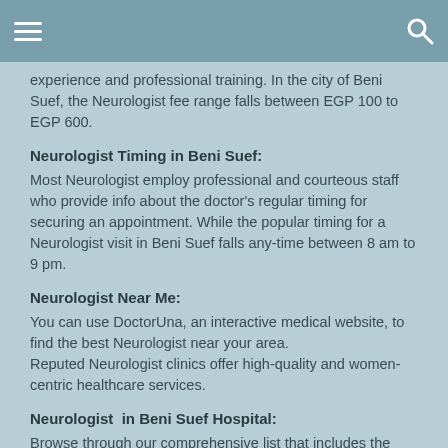experience and professional training. In the city of Beni Suef, the Neurologist fee range falls between EGP 100 to EGP 600.
Neurologist Timing in Beni Suef:
Most Neurologist employ professional and courteous staff who provide info about the doctor's regular timing for securing an appointment. While the popular timing for a Neurologist visit in Beni Suef falls any-time between 8 am to 9 pm.
Neurologist Near Me:
You can use DoctorUna, an interactive medical website, to find the best Neurologist near your area.
Reputed Neurologist clinics offer high-quality and women-centric healthcare services.
Neurologist  in Beni Suef Hospital:
Browse through our comprehensive list that includes the